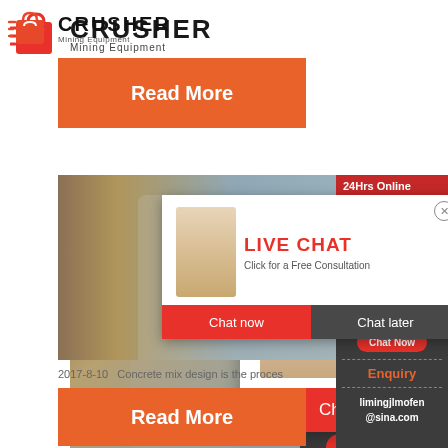[Figure (logo): Crusher Mining Equipment logo with shopping bag icon and company name]
[Figure (other): Orange Read More button]
[Figure (photo): Live Chat popup overlay on construction workers photo, with Chat now and Chat later buttons]
[Figure (other): 24Hrs Online sidebar with customer service agent photo, Need questions & suggestion section with Chat Now button, Enquiry section, and limingjlmofen@sina.com email]
2017-8-10   Concrete mix design is the proces
[Figure (other): Orange Read More button]